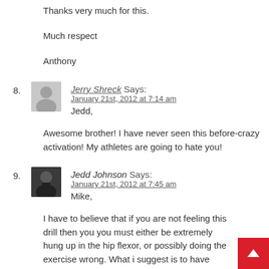Thanks very much for this.
Much respect
Anthony
Jerry Shreck Says:
January 21st, 2012 at 7:14 am
Jedd,
Awesome brother! I have never seen this before-crazy activation! My athletes are going to hate you!
Jedd Johnson Says:
January 21st, 2012 at 7:45 am
Mike,
I have to believe that if you are not feeling this drill then you you must either be extremely hung up in the hip flexor, or possibly doing the exercise wrong. What i suggest is to have someone you are comfortable with perform some raking on your glute. Essentially they will be grabbing your ass hard trying to cause you to stimulate the glute to fire. It sounds